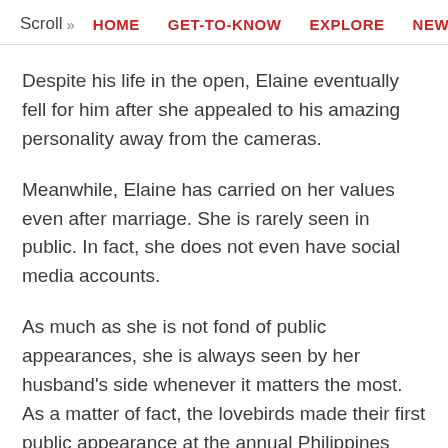Scroll >> HOME  GET-TO-KNOW  EXPLORE  NEWS
Despite his life in the open, Elaine eventually fell for him after she appealed to his amazing personality away from the cameras.
Meanwhile, Elaine has carried on her values even after marriage. She is rarely seen in public. In fact, she does not even have social media accounts.
As much as she is not fond of public appearances, she is always seen by her husband's side whenever it matters the most. As a matter of fact, the lovebirds made their first public appearance at the annual Philippines